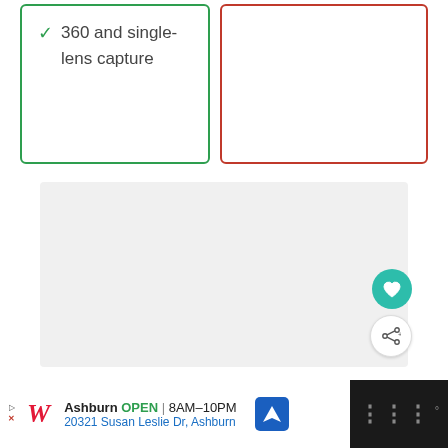360 and single-lens capture
[Figure (other): Empty red-bordered box (right column, no content)]
[Figure (other): Gray content placeholder box with teal heart FAB button and white share FAB button on the right]
[Figure (other): Advertisement bar: Walgreens ad — Ashburn OPEN 8AM-10PM, 20321 Susan Leslie Dr, Ashburn with navigation icon; dark right side with menu dots]